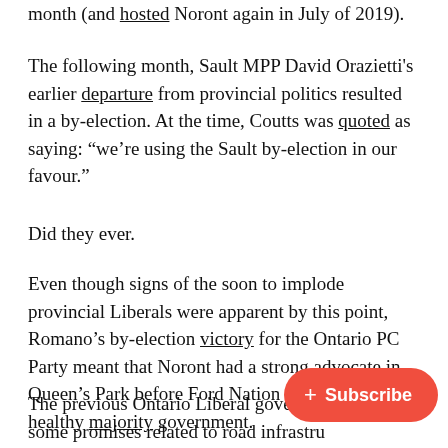month (and hosted Noront again in July of 2019).
The following month, Sault MPP David Orazietti's earlier departure from provincial politics resulted in a by-election. At the time, Coutts was quoted as saying: “we’re using the Sault by-election in our favour.”
Did they ever.
Even though signs of the soon to implode provincial Liberals were apparent by this point, Romano’s by-election victory for the Ontario PC Party meant that Noront had a strong advocate in Queen’s Park before Ford Nation filled it with a healthy majority government.
The previous Ontario Liberal government made some promises related to road infrastructure around